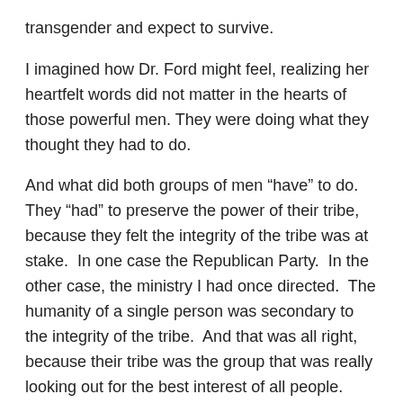transgender and expect to survive.
I imagined how Dr. Ford might feel, realizing her heartfelt words did not matter in the hearts of those powerful men. They were doing what they thought they had to do.
And what did both groups of men “have” to do. They “had” to preserve the power of their tribe, because they felt the integrity of the tribe was at stake. In one case the Republican Party. In the other case, the ministry I had once directed. The humanity of a single person was secondary to the integrity of the tribe. And that was all right, because their tribe was the group that was really looking out for the best interest of all people. They were sure of that. And sometimes a single person has to be sacrificed for the good of all, right?